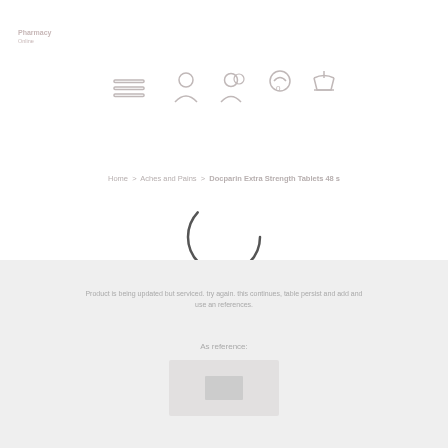[Figure (logo): Pharmacy logo in light gray/pink text top left]
[Figure (infographic): Navigation bar icons: hamburger menu, user/person icon, person with shadow icon, shopping/cart icon, bag/scale icon — all in light gray outline style]
Home > Aches and Pains > Docparin Extra Strength Tablets 48 s
[Figure (other): Loading spinner — circular arc, open at bottom-left, dark gray stroke on white background]
Product is being updated but serviced. try again. this continues, table persist and add and use an references.
As reference:
[Figure (other): Reload / placeholder button rectangle in light gray]